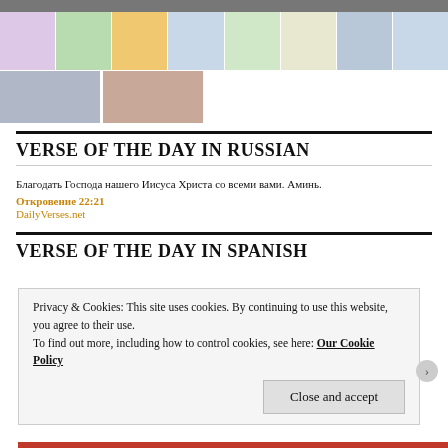[Figure (photo): Grid of thumbnail images including cartoon alien characters, a person in a bikini, vegetables/food, another cartoon alien, a man with sunglasses, and another alien character. Below, two portrait photos of people.]
VERSE OF THE DAY IN RUSSIAN
Благодать Господа нашего Иисуса Христа со всеми вами. Аминь.
Откровение 22:21
DailyVerses.net
VERSE OF THE DAY IN SPANISH
Privacy & Cookies: This site uses cookies. By continuing to use this website, you agree to their use.
To find out more, including how to control cookies, see here: Our Cookie Policy
Close and accept